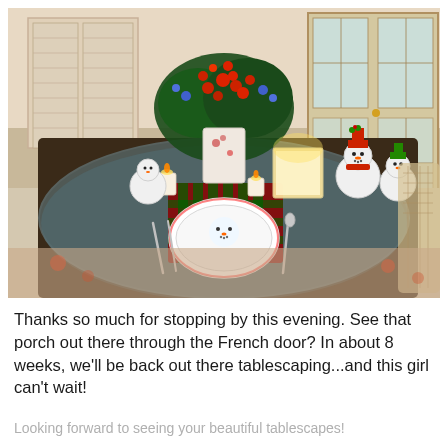[Figure (photo): A festive Christmas tablescape on a round glass table. The table features snowman-themed dishes, plaid napkins, candles, and a large floral centerpiece with red berries and greenery. Wicker chairs surround the table. French doors with white shutters are visible in the background.]
Thanks so much for stopping by this evening. See that porch out there through the French door? In about 8 weeks, we'll be back out there tablescaping...and this girl can't wait!
Looking forward to seeing your beautiful tablescapes!